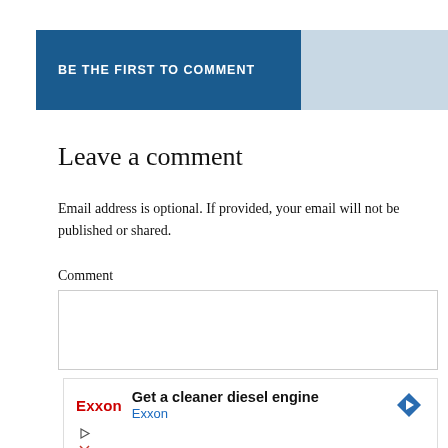BE THE FIRST TO COMMENT
Leave a comment
Email address is optional. If provided, your email will not be published or shared.
Comment
[Figure (screenshot): White comment textarea input box]
[Figure (infographic): Exxon advertisement: Get a cleaner diesel engine, with Exxon logo, ad headline, and blue diamond arrow icon]